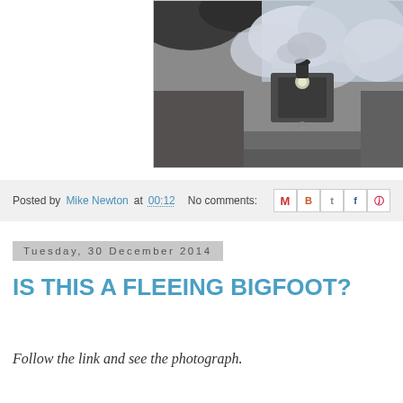[Figure (photo): Black and white photograph of a steam locomotive head-on coming down the tracks, surrounded by billowing steam and smoke, with trees in the background.]
Posted by Mike Newton at 00:12  No comments:
Tuesday, 30 December 2014
IS THIS A FLEEING BIGFOOT?
Follow the link and see the photograph.